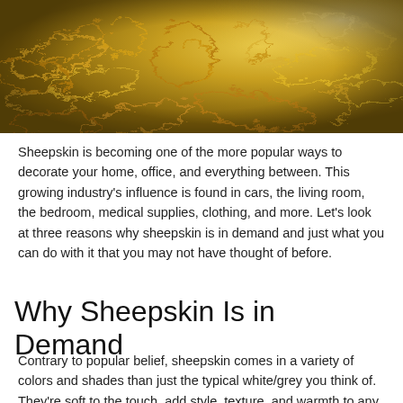[Figure (photo): Close-up macro photograph of sheepskin wool in golden/amber tones, showing curly fluffy fibers with warm yellowish lighting]
Sheepskin is becoming one of the more popular ways to decorate your home, office, and everything between. This growing industry's influence is found in cars, the living room, the bedroom, medical supplies, clothing, and more. Let's look at three reasons why sheepskin is in demand and just what you can do with it that you may not have thought of before.
Why Sheepskin Is in Demand
Contrary to popular belief, sheepskin comes in a variety of colors and shades than just the typical white/grey you think of. They're soft to the touch, add style, texture, and warmth to any area. For those